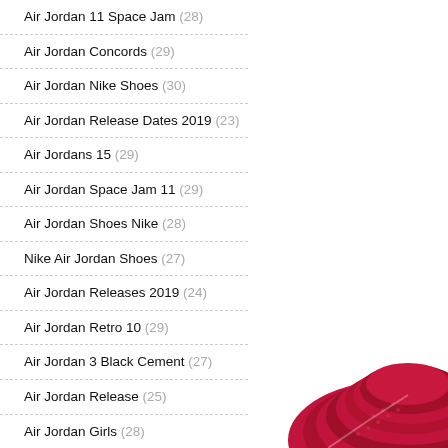Air Jordan 11 Space Jam (28)
Air Jordan Concords (29)
Air Jordan Nike Shoes (30)
Air Jordan Release Dates 2019 (23)
Air Jordans 15 (29)
Air Jordan Space Jam 11 (29)
Air Jordan Shoes Nike (28)
Nike Air Jordan Shoes (27)
Air Jordan Releases 2019 (24)
Air Jordan Retro 10 (29)
Air Jordan 3 Black Cement (27)
Air Jordan Release (25)
Air Jordan Girls (28)
Air Jordan 1 High Og (29)
Air Jordan 1/8 (23)
[Figure (photo): Close-up photo of a red/crimson Air Jordan sneaker sole and side, showing textured rubber pattern]